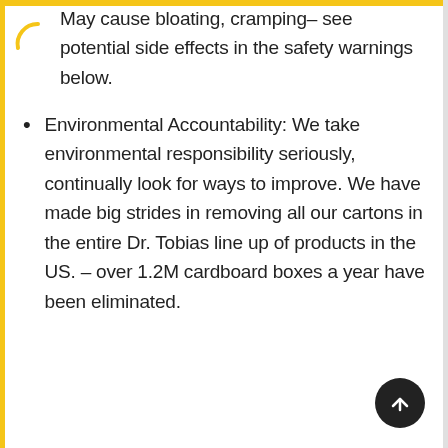May cause bloating, cramping– see potential side effects in the safety warnings below.
Environmental Accountability: We take environmental responsibility seriously, continually look for ways to improve. We have made big strides in removing all our cartons in the entire Dr. Tobias line up of products in the US. – over 1.2M cardboard boxes a year have been eliminated.